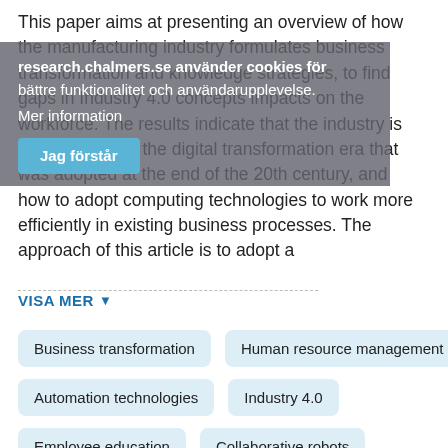This paper aims at presenting an overview of how the manufacturing industry formulates business transformation and knowledge strategies, to find gaps in Industry 4.0 concepts impacts on the workforce. The results indicate that the industry is still focusing on the digital transformation era that was adopted at the end of the 20th century, and how to adopt computing technologies to work more efficiently in existing business processes. The approach of this article is to adopt a
VISA MER
Business transformation
Human resource management
Automation technologies
Industry 4.0
Employee education
Collaborative robots